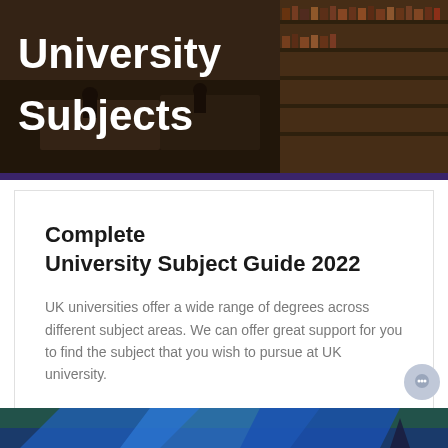[Figure (photo): Banner image of a university library interior with bookshelves and study areas, overlaid with bold white text reading 'University Subjects']
Complete University Subject Guide 2022
UK universities offer a wide range of degrees across different subject areas. We can offer great support for you to find the subject that you wish to pursue at UK university.
LEARN MORE
[Figure (photo): Partial bottom banner with blue and green gradient design, partially visible]